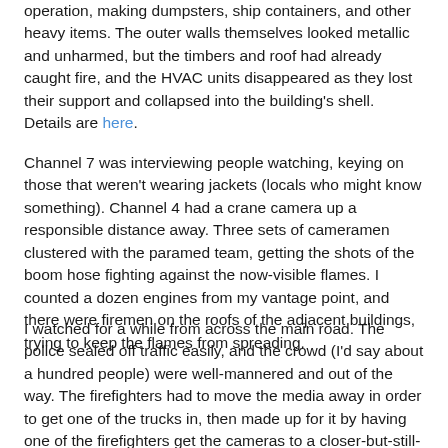operation, making dumpsters, ship containers, and other heavy items. The outer walls themselves looked metallic and unharmed, but the timbers and roof had already caught fire, and the HVAC units disappeared as they lost their support and collapsed into the building's shell. Details are here.
Channel 7 was interviewing people watching, keying on those that weren't wearing jackets (locals who might know something). Channel 4 had a crane camera up a responsible distance away. Three sets of cameramen clustered with the paramed team, getting the shots of the boom hose fighting against the now-visible flames. I counted a dozen engines from my vantage point, and there were firemen on the roofs of the adjacent buildings, trying to keep the flames from spreading.
I watched for a while from across the main road. The police sealed off traffic easily, and the crowd (I'd say about a hundred people) were well-mannered and out of the way. The firefighters had to move the media away in order to get one of the trucks in, then made up for it by having one of the firefighters get the cameras to a closer-but-still-safe vantage point. I stayed for a while (until the air conditioning unit fell...